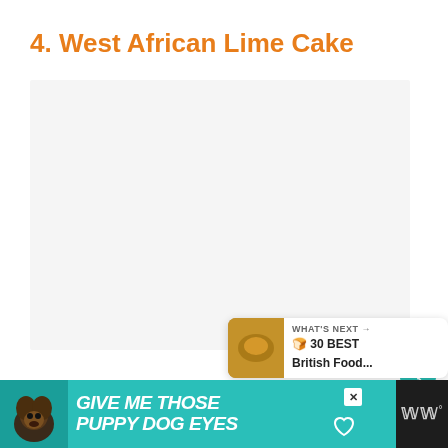4. West African Lime Cake
[Figure (photo): Placeholder image area for West African Lime Cake photo, light gray background]
[Figure (infographic): Social sidebar with heart/like button, share count of 3, and teal share button]
[Figure (screenshot): What's Next panel showing a food image thumbnail and text: WHAT'S NEXT → 🍞 30 BEST British Food...]
[Figure (infographic): Advertisement banner: GIVE ME THOSE PUPPY DOG EYES with dog image, close button, and Ww° logo on dark background]